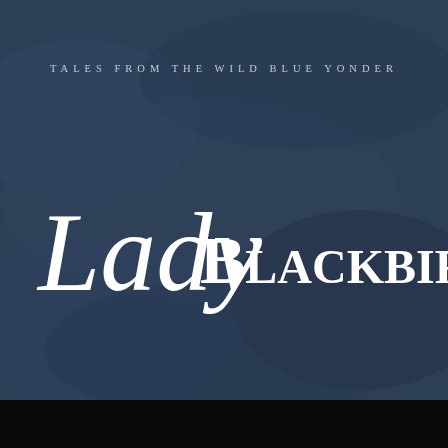[Figure (illustration): Album cover art for Lady Blackbird - Tales from the Wild Blue Yonder. Dark navy blue textured background with artist name in large white script and serif fonts, subtitle in small spaced uppercase letters at top. Black bar at bottom.]
TALES FROM THE WILD BLUE YONDER
Lady Blackbird